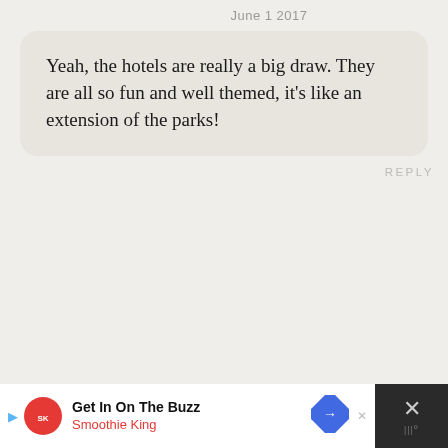June 1 2017
Yeah, the hotels are really a big draw. They are all so fun and well themed, it’s like an extension of the parks!
REPLY
Meghan
May 27 2017
Great post! Reminds me of all the reasons I fell in love with Universal. Can’t wait to plan a return trip. Thanks for hosting
Get In On The Buzz
Smoothie King